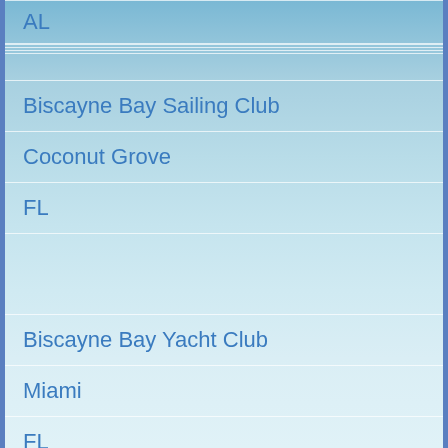AL
Biscayne Bay Sailing Club
Coconut Grove
FL
Biscayne Bay Yacht Club
Miami
FL